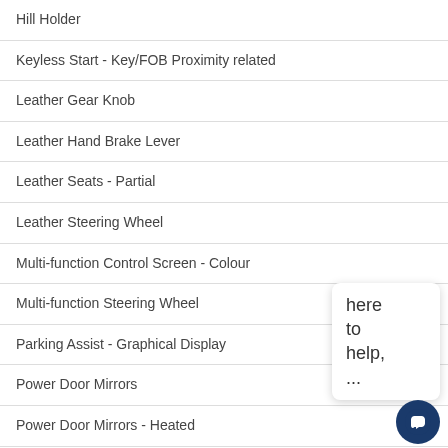Hill Holder
Keyless Start - Key/FOB Proximity related
Leather Gear Knob
Leather Hand Brake Lever
Leather Seats - Partial
Leather Steering Wheel
Multi-function Control Screen - Colour
Multi-function Steering Wheel
Parking Assist - Graphical Display
Power Door Mirrors
Power Door Mirrors - Heated
Power Steering
Power Steering - Electro-Hydraulic
Power Windows - Front & Rear
Premium Sound System